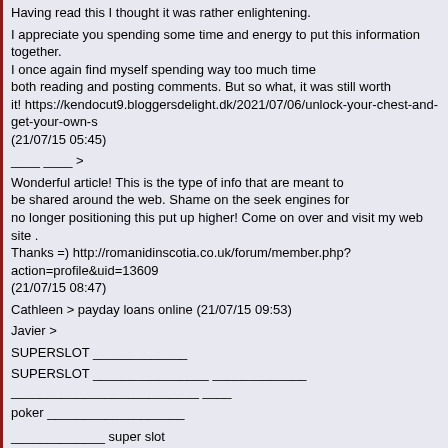Having read this I thought it was rather enlightening.
I appreciate you spending some time and energy to put this information together. I once again find myself spending way too much time both reading and posting comments. But so what, it was still worth it! https://kendocut9.bloggersdelight.dk/2021/07/06/unlock-your-chest-and-get-your-own-s (21/07/15 05:45)
____ ____ >
Wonderful article! This is the type of info that are meant to be shared around the web. Shame on the seek engines for no longer positioning this put up higher! Come on over and visit my web site . Thanks =) http://romanidinscotia.co.uk/forum/member.php?action=profile&uid=13609 (21/07/15 08:47)
Cathleen > payday loans online (21/07/15 09:53)
Javier >
SUPERSLOT _____________
SUPERSLOT ________________ _____________ __________________________ ____
poker ___________________
_____________ super slot _________________________________________ ___________
, amb , 999 ____ 191 / 123 __________ Slotxo ________ _________ _____________
_________________________ _________________________ (21/07/15 12:31)
___ ____ ____ >
My brother suggested I might like this blog. He was totally right. This post truly made my day. You cann't imagine just how much time I had spent for this in
Thanks! https://www.ultimate-guitar.com/u/mosquefemale30 (21/07/15 14:01)
pc games >